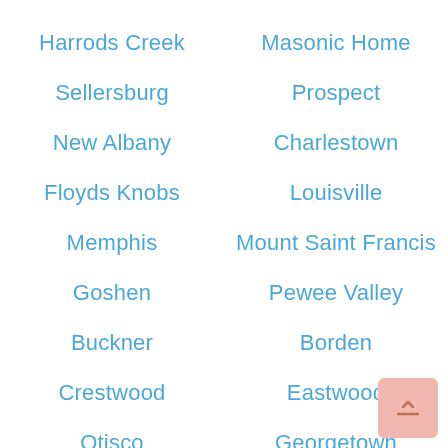Harrods Creek
Masonic Home
Sellersburg
Prospect
New Albany
Charlestown
Floyds Knobs
Louisville
Memphis
Mount Saint Francis
Goshen
Pewee Valley
Buckner
Borden
Crestwood
Eastwood
Otisco
Georgetown